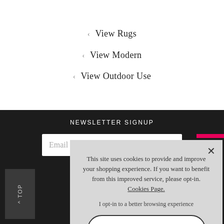‹ View Rugs
‹ View Modern
‹ View Outdoor Use
NEWSLETTER SIGNUP
Email address
To see how we...
This site uses cookies to provide and improve your shopping experience. If you want to benefit from this improved service, please opt-in. Cookies Page.
I opt-in to a better browsing experience
ACCEPT COOKIES